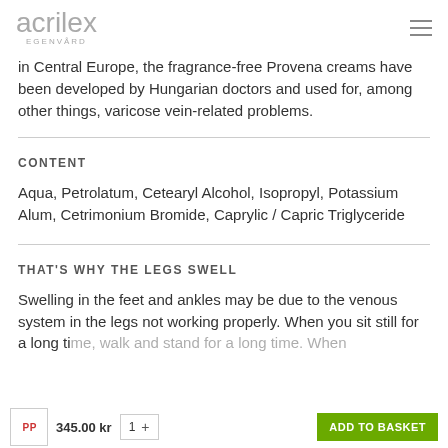acrilex EGENVÅRD
in Central Europe, the fragrance-free Provena creams have been developed by Hungarian doctors and used for, among other things, varicose vein-related problems.
CONTENT
Aqua, Petrolatum, Cetearyl Alcohol, Isopropyl, Potassium Alum, Cetrimonium Bromide, Caprylic / Capric Triglyceride
THAT'S WHY THE LEGS SWELL
Swelling in the feet and ankles may be due to the venous system in the legs not working properly. When you sit still for a long ti… walk and stand for… When… you
345.00 kr   1   +   ADD TO BASKET